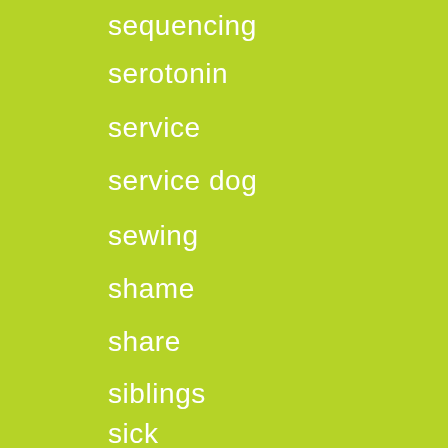sequencing
serotonin
service
service dog
sewing
shame
share
siblings
sick